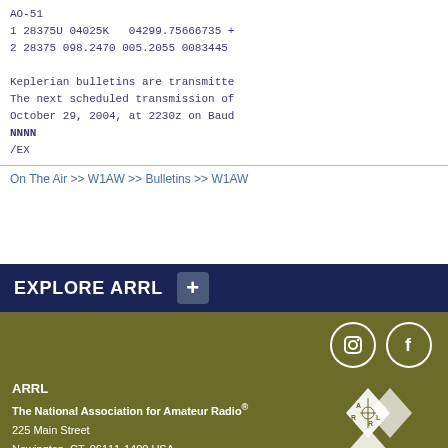AO-51
1 28375U 04025K   04299.75666735 +
2 28375 098.2470 005.2055 0083445
Keplerian bulletins are transmitte
The next scheduled transmission of
October 29, 2004, at 2230z on Baud
NNNN
/EX
On The Air >> W1AW >> Bulletins >> W1AW
EXPLORE ARRL
ARRL
The National Association for Amateur Radio®
225 Main Street
Newington, CT, 06111-1400 USA
Tel: 1-860-594-0200 | Fax: 1-860-594-0259
Toll-free: 1-888-277-5289
hq@arrl.org